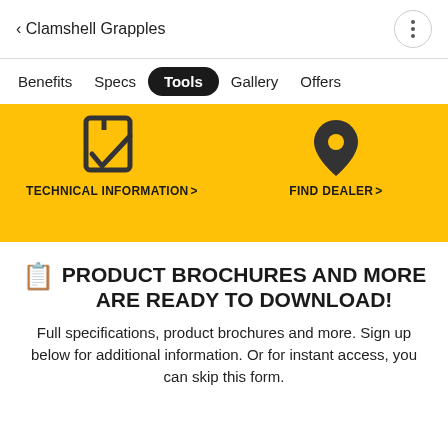< Clamshell Grapples
Benefits  Specs  Tools  Gallery  Offers
[Figure (screenshot): Yellow banner with two tool links: a document/link icon labeled 'TECHNICAL INFORMATION >' and a location pin icon labeled 'FIND DEALER >']
PRODUCT BROCHURES AND MORE ARE READY TO DOWNLOAD!
Full specifications, product brochures and more. Sign up below for additional information. Or for instant access, you can skip this form.